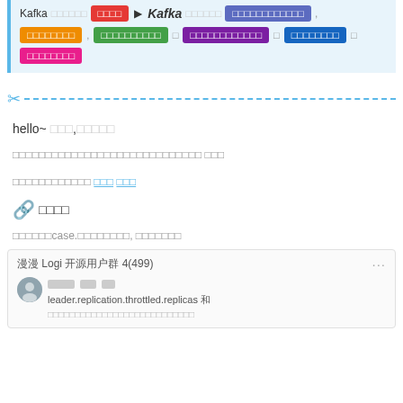[Figure (screenshot): Blue highlighted block showing Kafka-related colored tag labels including red, orange, green, purple, blue, and pink tags with Chinese characters]
[Figure (other): Dashed horizontal divider line with scissors icon in blue]
hello~ □□□,□□□□□
□□□□□□□□□□□□□□□□□□□□□□□□□□□□□ □□□
□□□□□□□□□□□□ □□□ □□□
[Figure (other): Link icon (chain link) followed by Chinese characters □□□□]
□□□□□□case.□□□□□□□□, □□□□□□□
[Figure (screenshot): Chat group message box showing '漫漫 Logi 开源用户群 4(499)' with a message about 'leader.replication.throttled.replicas 和']